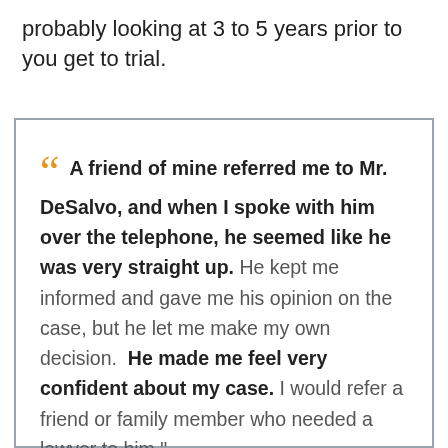probably looking at 3 to 5 years prior to you get to trial.
“A friend of mine referred me to Mr. DeSalvo, and when I spoke with him over the telephone, he seemed like he was very straight up. He kept me informed and gave me his opinion on the case, but he let me make my own decision. He made me feel very confident about my case. I would refer a friend or family member who needed a lawyer to him.”